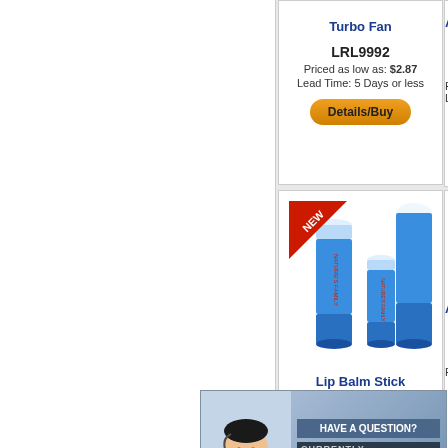Turbo Fan
LRL9992
Priced as low as: $2.87
Lead Time: 5 Days or less
[Figure (illustration): Details/Buy button - orange rounded button]
[Figure (illustration): NEW badge ribbon and lip balm sticks product image showing multiple blue lip balm sticks of different sizes]
Lip Balm Stick
Priced as low as:
Lead Time:
[Figure (illustration): Details/Buy button - orange rounded button]
[Figure (illustration): Have a question? Currently Offline chat widget with woman image]
Ant...